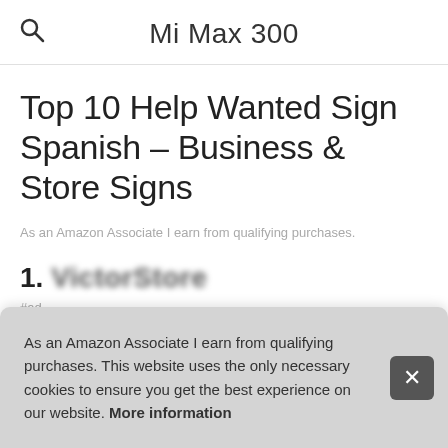Mi Max 300
Top 10 Help Wanted Sign Spanish – Business & Store Signs
As an Amazon Associate I earn from qualifying purchases.
1. VictorStore
#ad
As an Amazon Associate I earn from qualifying purchases. This website uses the only necessary cookies to ensure you get the best experience on our website. More information